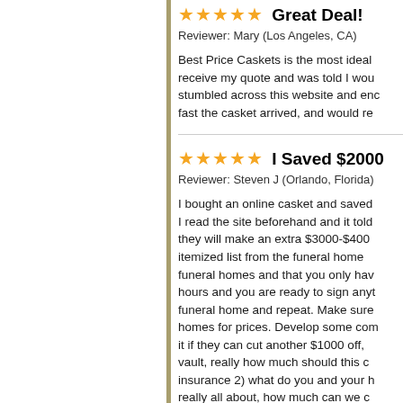★★★★★ Great Deal!
Reviewer: Mary (Los Angeles, CA)
Best Price Caskets is the most ideal receive my quote and was told I wou stumbled across this website and enc fast the casket arrived, and would re
★★★★★ I Saved $2000
Reviewer: Steven J (Orlando, Florida)
I bought an online casket and saved I read the site beforehand and it told they will make an extra $3000-$400 itemized list from the funeral home funeral homes and that you only hav hours and you are ready to sign anyt funeral home and repeat. Make sure homes for prices. Develop some com it if they can cut another $1000 off, vault, really how much should this c insurance 2) what do you and your h really all about, how much can we c bring your nice car, to really dress u